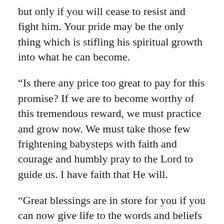but only if you will cease to resist and fight him. Your pride may be the only thing which is stifling his spiritual growth into what he can become.
“Is there any price too great to pay for this promise? If we are to become worthy of this tremendous reward, we must practice and grow now. We must take those few frightening babysteps with faith and courage and humbly pray to the Lord to guide us. I have faith that He will.
“Great blessings are in store for you if you can now give life to the words and beliefs you have merely been giving lip service to all these years” (Charlotte S. Maxfield, “A Husband – To Have and To Hold,” in Duane S. Crowther and